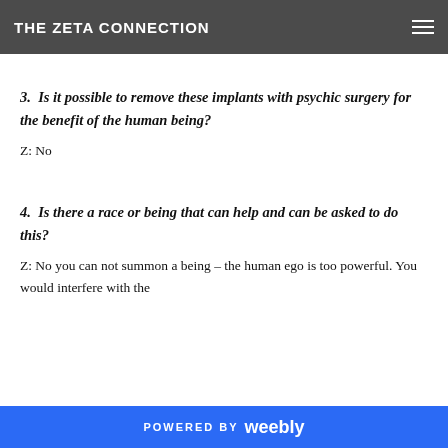THE ZETA CONNECTION
3. Is it possible to remove these implants with psychic surgery for the benefit of the human being?
Z: No
4. Is there a race or being that can help and can be asked to do this?
Z: No you can not summon a being – the human ego is too powerful. You would interfere with the
POWERED BY weebly